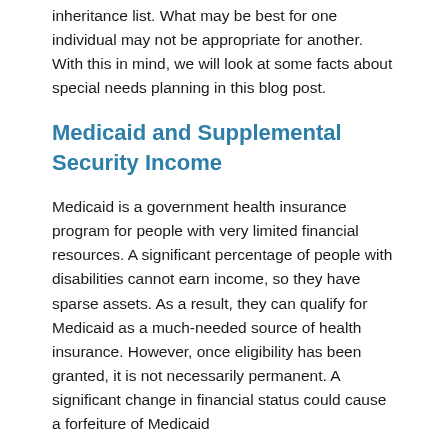inheritance list. What may be best for one individual may not be appropriate for another. With this in mind, we will look at some facts about special needs planning in this blog post.
Medicaid and Supplemental Security Income
Medicaid is a government health insurance program for people with very limited financial resources. A significant percentage of people with disabilities cannot earn income, so they have sparse assets. As a result, they can qualify for Medicaid as a much-needed source of health insurance. However, once eligibility has been granted, it is not necessarily permanent. A significant change in financial status could cause a forfeiture of Medicaid